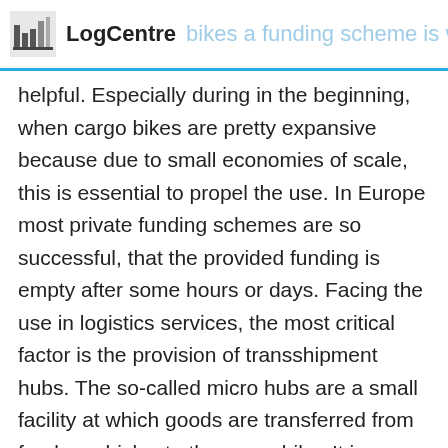LogCentre  bikes a funding scheme is v
helpful. Especially during in the beginning, when cargo bikes are pretty expansive because due to small economies of scale, this is essential to propel the use. In Europe most private funding schemes are so successful, that the provided funding is empty after some hours or days. Facing the use in logistics services, the most critical factor is the provision of transshipment hubs. The so-called micro hubs are a small facility at which goods are transferred from feeder vehicles to the cargo bike. It is a necessity, that micro hubs are located in close proximity to the actual delivery area since ca cargo bike needs to return two to three times